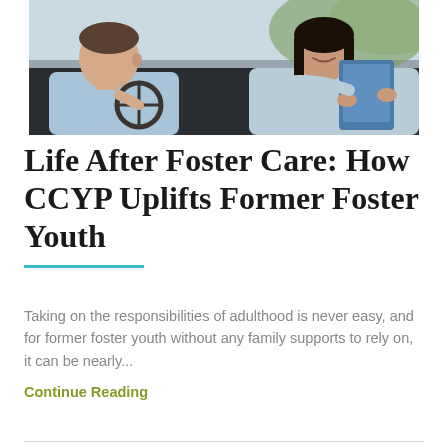[Figure (photo): Two people sitting in a car. A man in a light blue button-up shirt is in the passenger or driver seat, and a woman in a light blue jacket is smiling and holding a tablet device. The car interior and greenery are visible in the background.]
Life After Foster Care: How CCYP Uplifts Former Foster Youth
Taking on the responsibilities of adulthood is never easy, and for former foster youth without any family supports to rely on, it can be nearly...
Continue Reading